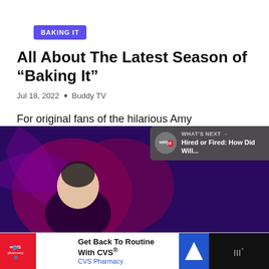BAKING IT
All About The Latest Season of “Baking It”
Jul 18, 2022 • Buddy TV
For original fans of the hilarious Amy Poehler and Nick Offerman crafting …
[Figure (screenshot): Video thumbnail showing a person in front of a purple/pink graphic background, with a 'What's Next' overlay showing Buddy TV logo and text 'Hired or Fired: How Did Will...']
[Figure (infographic): CVS Pharmacy advertisement banner: 'Get Back To Routine With CVS® CVS Pharmacy']